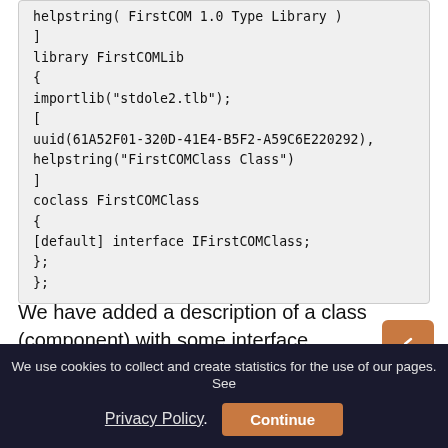helpstring( FirstCOM 1.0 Type Library )
]
library FirstCOMLib
{
importlib("stdole2.tlb");
[
uuid(61A52F01-320D-41E4-B5F2-A59C6E220292),
helpstring("FirstCOMClass Class")
]
coclass FirstCOMClass
{
[default] interface IFirstCOMClass;
};
};
We have added a description of a class (component) with some interface IFirstCOMClass to the description section of the library (library FirstCOMLib{...}). The definition of that interface has been automatically added at the beginning of
We use cookies to collect and create statistics for the use of our pages. See Privacy Policy. Continue